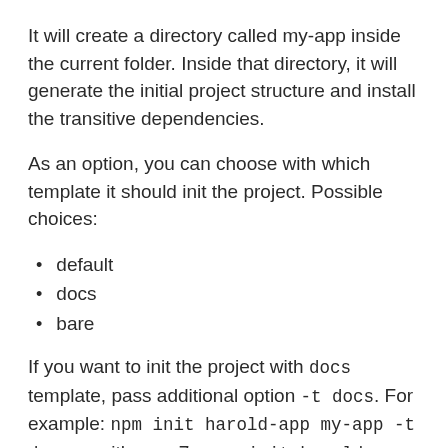It will create a directory called my-app inside the current folder. Inside that directory, it will generate the initial project structure and install the transitive dependencies.
As an option, you can choose with which template it should init the project. Possible choices:
default
docs
bare
If you want to init the project with docs template, pass additional option -t docs. For example: npm init harold-app my-app -t docs or with npm 7+ npm init harold-app my-app -- -t docs.